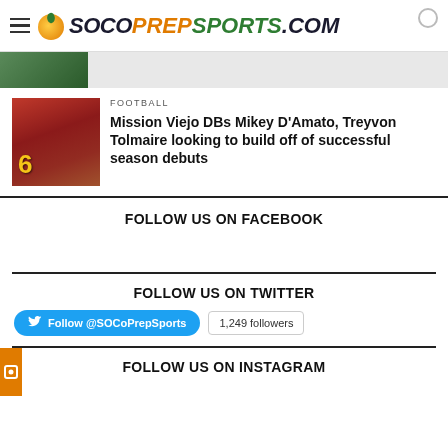SOCoPrepSports.com
FOOTBALL
Mission Viejo DBs Mikey D'Amato, Treyvon Tolmaire looking to build off of successful season debuts
FOLLOW US ON FACEBOOK
FOLLOW US ON TWITTER
Follow @SOCoPrepSports  1,249 followers
FOLLOW US ON INSTAGRAM